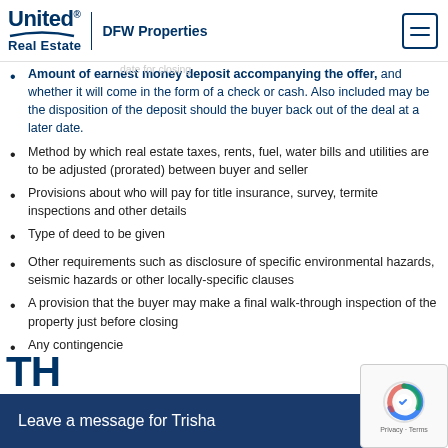United Real Estate | DFW Properties
Amount of earnest money deposit accompanying the offer, and whether it will come in the form of a check or cash. Also included may be the disposition of the deposit should the buyer back out of the deal at a later date.
Method by which real estate taxes, rents, fuel, water bills and utilities are to be adjusted (prorated) between buyer and seller
Provisions about who will pay for title insurance, survey, termite inspections and other details
Type of deed to be given
Other requirements such as disclosure of specific environmental hazards, seismic hazards or other locally-specific clauses
A provision that the buyer may make a final walk-through inspection of the property just before closing
Any contingencie
TH
Leave a message for Trisha